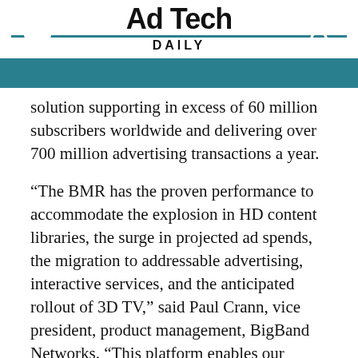Ad Tech DAILY
solution supporting in excess of 60 million subscribers worldwide and delivering over 700 million advertising transactions a year.
“The BMR has the proven performance to accommodate the explosion in HD content libraries, the surge in projected ad spends, the migration to addressable advertising, interactive services, and the anticipated rollout of 3D TV,” said Paul Crann, vice president, product management, BigBand Networks. “This platform enables our customers to quickly ramp additional advertising revenues seamlessly and cost effectively. The BMR’s successful track record has established it as a proven, reliable and high-quality platform. This software upgrade continues to utilize our